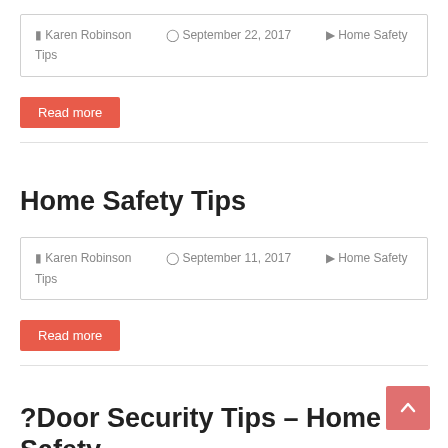Karen Robinson   September 22, 2017   Home Safety Tips
Read more
Home Safety Tips
Karen Robinson   September 11, 2017   Home Safety Tips
Read more
?Door Security Tips – Home Safety